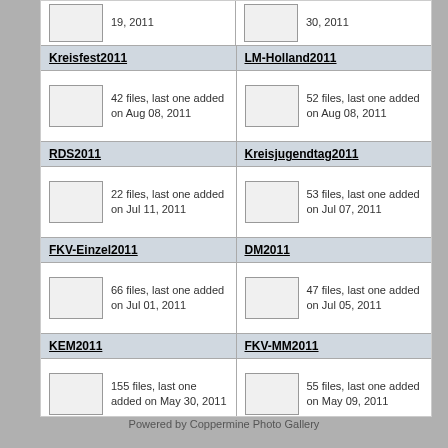19, 2011
30, 2011
Kreisfest2011
LM-Holland2011
42 files, last one added on Aug 08, 2011
52 files, last one added on Aug 08, 2011
RDS2011
Kreisjugendtag2011
22 files, last one added on Jul 11, 2011
53 files, last one added on Jul 07, 2011
FKV-Einzel2011
DM2011
66 files, last one added on Jul 01, 2011
47 files, last one added on Jul 05, 2011
KEM2011
FKV-MM2011
155 files, last one added on May 30, 2011
55 files, last one added on May 09, 2011
129 albums on 7 page(s)  1 2 3 4 5
Powered by Coppermine Photo Gallery